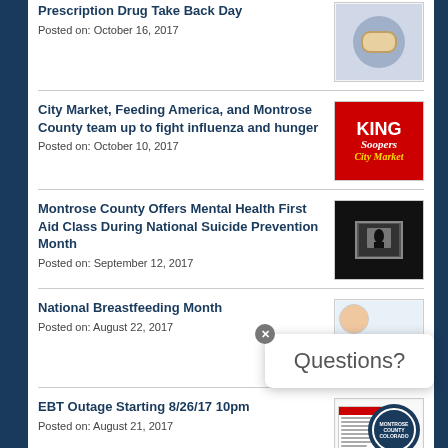Prescription Drug Take Back Day
Posted on: October 16, 2017
[Figure (photo): Prescription pill image, circular medal-like object]
City Market, Feeding America, and Montrose County team up to fight influenza and hunger
Posted on: October 10, 2017
[Figure (logo): King Soopers / City Market logo on red background]
Montrose County Offers Mental Health First Aid Class During National Suicide Prevention Month
Posted on: September 12, 2017
[Figure (photo): Dark silhouette of a person looking at a lit window]
National Breastfeeding Month
Posted on: August 22, 2017
[Figure (photo): Breastfeeding informational image with infant face and text lines]
EBT Outage Starting 8/26/17 10pm
Posted on: August 21, 2017
[Figure (photo): Document with red header bar and Montrose County Colorado seal]
Questions?